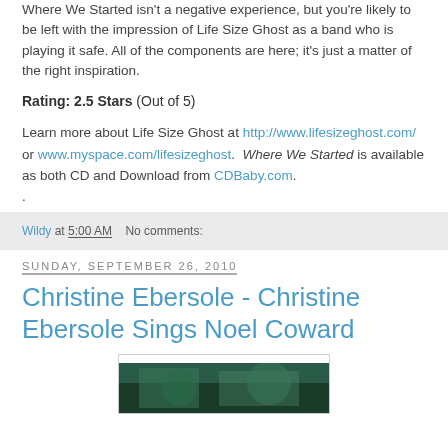Where We Started isn't a negative experience, but you're likely to be left with the impression of Life Size Ghost as a band who is playing it safe. All of the components are here; it's just a matter of the right inspiration.
Rating: 2.5 Stars (Out of 5)
Learn more about Life Size Ghost at http://www.lifesizeghost.com/ or www.myspace.com/lifesizeghost. Where We Started is available as both CD and Download from CDBaby.com. .
Wildy at 5:00 AM   No comments:
Sunday, September 26, 2010
Christine Ebersole - Christine Ebersole Sings Noel Coward
[Figure (photo): Album cover image, partially visible, showing green/teal toned imagery]